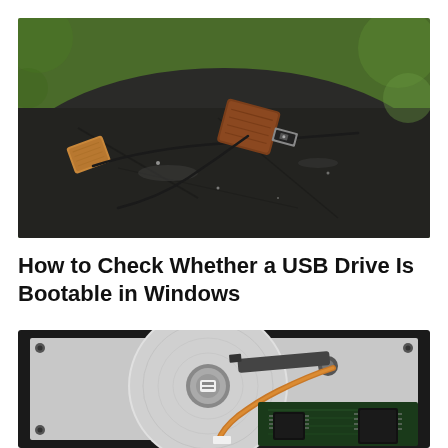[Figure (photo): Two wooden USB drives with black cords resting on a dark weathered tree stump surface, with green bokeh background]
How to Check Whether a USB Drive Is Bootable in Windows
[Figure (photo): Close-up of an open hard disk drive (HDD) showing the read/write arm with copper ribbon cable, platters with spindle motor, and circuit board with chips at the bottom]